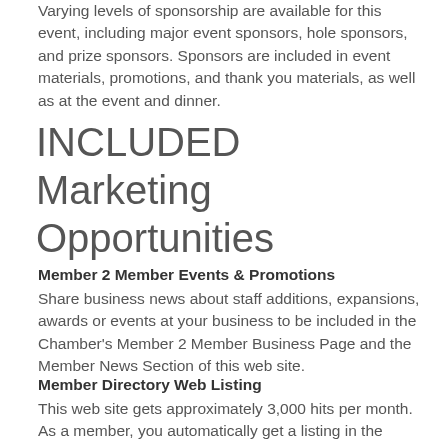Varying levels of sponsorship are available for this event, including major event sponsors, hole sponsors, and prize sponsors. Sponsors are included in event materials, promotions, and thank you materials, as well as at the event and dinner.
INCLUDED Marketing Opportunities
Member 2 Member Events & Promotions
Share business news about staff additions, expansions, awards or events at your business to be included in the Chamber's Member 2 Member Business Page and the Member News Section of this web site.
Member Directory Web Listing
This web site gets approximately 3,000 hits per month. As a member, you automatically get a listing in the online membership directory. This listing includes a full color directory page with a link to your business web site. A